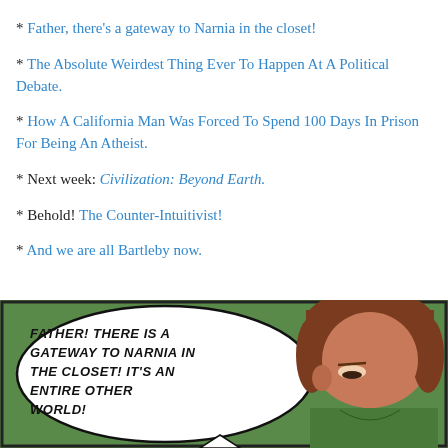* Father, there's a gateway to Narnia in the closet!
* The Absolute Weirdest Thing Ever To Happen At A Political Debate.
* How A California Man Was Forced To Spend 100 Days In Prison For Being An Atheist.
* Next week: Civilization: Beyond Earth.
* Behold! The Counter-Intuitivist!
* And we are all Bartleby now.
[Figure (illustration): Comic panel showing a character with brown hair and green shirt with a speech bubble reading: FATHER! THERE IS A GATEWAY TO NARNIA IN THE CLOSET! IT'S AN ENTIRE OTHER WORLD!]